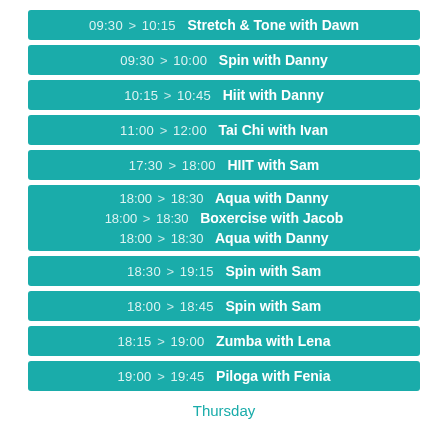09:30 > 10:15  Stretch & Tone with Dawn
09:30 > 10:00  Spin with Danny
10:15 > 10:45  Hiit with Danny
11:00 > 12:00  Tai Chi with Ivan
17:30 > 18:00  HIIT with Sam
18:00 > 18:30  Aqua with Danny
18:00 > 18:30  Boxercise with Jacob
18:00 > 18:30  Aqua with Danny
18:30 > 19:15  Spin with Sam
18:00 > 18:45  Spin with Sam
18:15 > 19:00  Zumba with Lena
19:00 > 19:45  Piloga with Fenia
Thursday